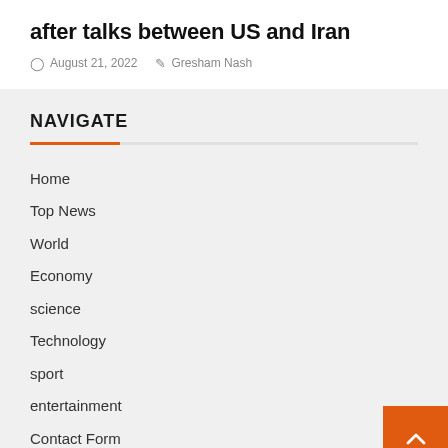after talks between US and Iran
August 21, 2022  Gresham Nash
NAVIGATE
Home
Top News
World
Economy
science
Technology
sport
entertainment
Contact Form